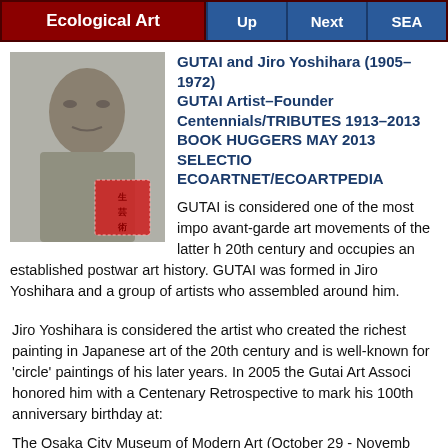Ecological Art | Up | Next | SEA
[Figure (photo): Black and white photograph of a man (Jiro Yoshihara) with a red seal/stamp overlay in the lower right of the image]
GUTAI and Jiro Yoshihara (1905–1972) GUTAI Artist–Founder Centennials/TRIBUTES 1913–2013 BOOK HUGGERS MAY 2013 SELECTIONS ECOARTNET/ECOARTPEDIA
GUTAI is considered one of the most important avant-garde art movements of the latter half of the 20th century and occupies an established place in postwar art history. GUTAI was formed in 1954 by Jiro Yoshihara and a group of artists who assembled around him.
Jiro Yoshihara is considered the artist who created the richest painting in Japanese art of the 20th century and is well-known for 'circle' paintings of his later years. In 2005 the Gutai Art Association honored him with a Centenary Retrospective to mark his 100th anniversary birthday at:
The Osaka City Museum of Modern Art (October 29 - November 2005)
Aichi Prefectural Museum of Art (December 15, 2005 - Februa